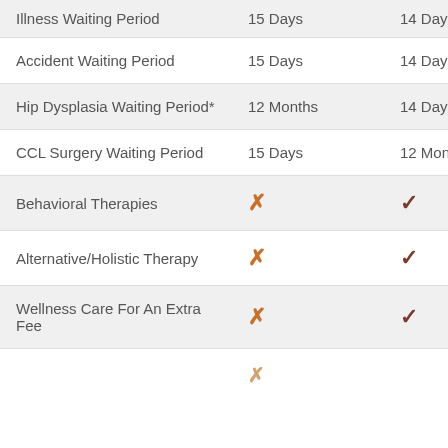| Feature | Plan A | Plan B |
| --- | --- | --- |
| Illness Waiting Period | 15 Days | 14 Days |
| Accident Waiting Period | 15 Days | 14 Days |
| Hip Dysplasia Waiting Period* | 12 Months | 14 Days |
| CCL Surgery Waiting Period | 15 Days | 12 Months |
| Behavioral Therapies | ✗ | ✓ |
| Alternative/Holistic Therapy | ✗ | ✓ |
| Wellness Care For An Extra Fee | ✗ | ✓ |
| ... | ... | ... |